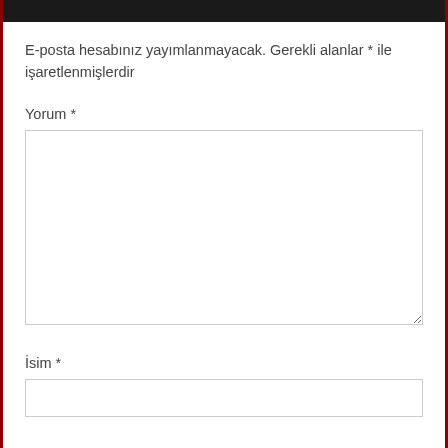E-posta hesabınız yayımlanmayacak. Gerekli alanlar * ile işaretlenmişlerdir
Yorum *
İsim *